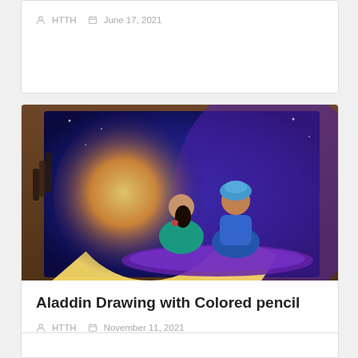HTTH  June 17, 2021
[Figure (illustration): Aladdin and Jasmine sitting on a flying carpet with a large glowing moon behind them, colorful pencil artwork on wooden table background]
Aladdin Drawing with Colored pencil
HTTH  November 11, 2021